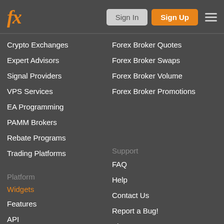[Figure (logo): fx logo in orange italic text]
Crypto Exchanges
Expert Advisors
Signal Providers
VPS Services
EA Programming
PAMM Brokers
Rebate Programs
Trading Platforms
Forex Broker Quotes
Forex Broker Swaps
Forex Broker Volume
Forex Broker Promotions
Platform
Support
Widgets
Features
API
RSS
FAQ
Help
Contact Us
Report a Bug!
About
Blog